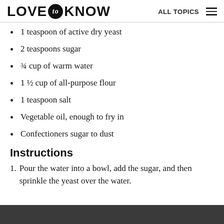LOVE to KNOW | ALL TOPICS
1 teaspoon of active dry yeast
2 teaspoons sugar
¾ cup of warm water
1 ½ cup of all-purpose flour
1 teaspoon salt
Vegetable oil, enough to fry in
Confectioners sugar to dust
Instructions
1. Pour the water into a bowl, add the sugar, and then sprinkle the yeast over the water.